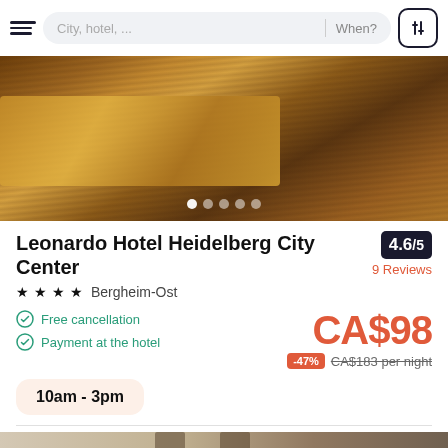City, hotel, ...  When?
[Figure (photo): Hotel room photo showing a bed with golden/ochre bedspread, striped carpet floor, and wooden furniture]
Leonardo Hotel Heidelberg City Center
4.6/5  9 Reviews
★★★★  Bergheim-Ost
Free cancellation
Payment at the hotel
CA$98
-47%  CA$183 per night
10am - 3pm
[Figure (photo): Lower portion of hotel room photo showing light beige walls and curtains]